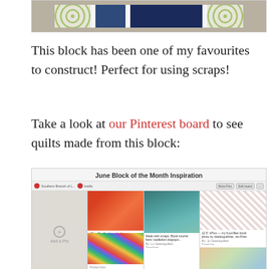[Figure (photo): Top portion of a quilt block construction photo showing fabric strips with navy, white, and green patterned fabric on a cutting mat]
This block has been one of my favourites to construct! Perfect for using scraps!
Take a look at our Pinterest board to see quilts made from this block:
[Figure (screenshot): Screenshot of a Pinterest board titled 'June Block of the Month Inspiration' showing various quilt images including colorful cushions, a teal table runner, and patchwork quilts]